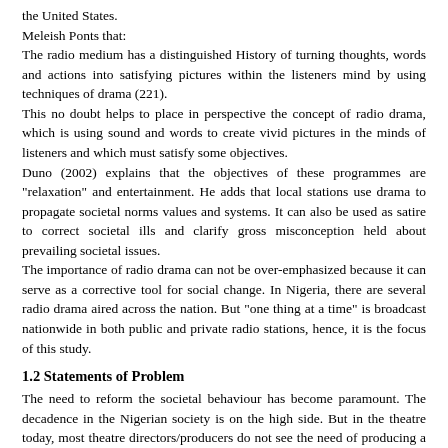the United States.
Meleish Ponts that:
The radio medium has a distinguished History of turning thoughts, words and actions into satisfying pictures within the listeners mind by using techniques of drama (221).
This no doubt helps to place in perspective the concept of radio drama, which is using sound and words to create vivid pictures in the minds of listeners and which must satisfy some objectives.
Duno (2002) explains that the objectives of these programmes are "relaxation" and entertainment. He adds that local stations use drama to propagate societal norms values and systems. It can also be used as satire to correct societal ills and clarify gross misconception held about prevailing societal issues.
The importance of radio drama can not be over-emphasized because it can serve as a corrective tool for social change. In Nigeria, there are several radio drama aired across the nation. But "one thing at a time" is broadcast nationwide in both public and private radio stations, hence, it is the focus of this study.
1.2 Statements of Problem
The need to reform the societal behaviour has become paramount. The decadence in the Nigerian society is on the high side. But in the theatre today, most theatre directors/producers do not see the need of producing a radio drama. Hence radio drama has been overlooked not only in the educational theatre but also in the